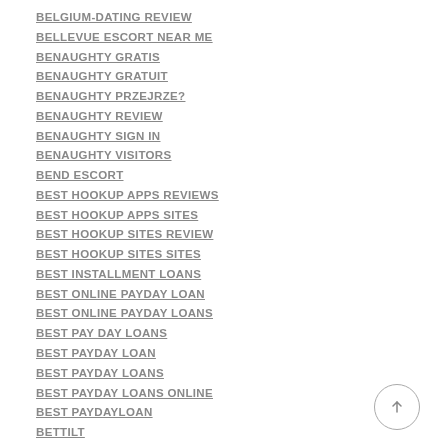BELGIUM-DATING REVIEW
BELLEVUE ESCORT NEAR ME
BENAUGHTY GRATIS
BENAUGHTY GRATUIT
BENAUGHTY PRZEJRZE?
BENAUGHTY REVIEW
BENAUGHTY SIGN IN
BENAUGHTY VISITORS
BEND ESCORT
BEST HOOKUP APPS REVIEWS
BEST HOOKUP APPS SITES
BEST HOOKUP SITES REVIEW
BEST HOOKUP SITES SITES
BEST INSTALLMENT LOANS
BEST ONLINE PAYDAY LOAN
BEST ONLINE PAYDAY LOANS
BEST PAY DAY LOANS
BEST PAYDAY LOAN
BEST PAYDAY LOANS
BEST PAYDAY LOANS ONLINE
BEST PAYDAYLOAN
BETTILT
BETTILT SITELERI